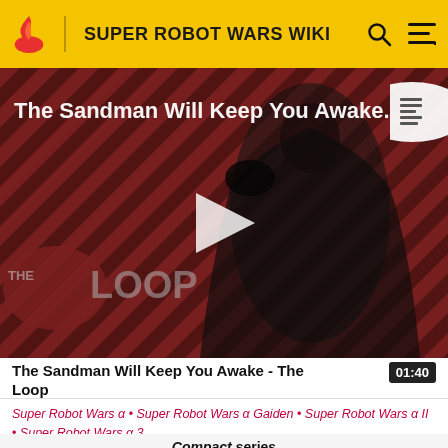SUPER ROBOT WARS WIKI
[Figure (screenshot): Video thumbnail for 'The Sandman Will Keep You Awake - The Loop' showing a dark figure against a diagonal striped red/brown background with 'THE LOOP' text overlay and a play button in the center]
The Sandman Will Keep You Awake - The Loop
01:40
Super Robot Wars α • Super Robot Wars α Gaiden • Super Robot Wars α II • Super Robot Wars α 3
Compact series